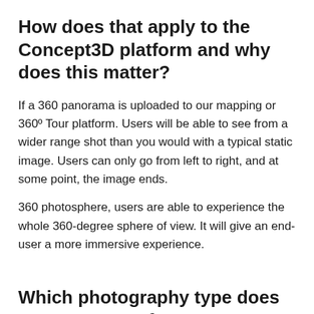How does that apply to the Concept3D platform and why does this matter?
If a 360 panorama is uploaded to our mapping or 360º Tour platform. Users will be able to see from a wider range shot than you would with a typical static image. Users can only go from left to right, and at some point, the image ends.
360 photosphere, users are able to experience the whole 360-degree sphere of view. It will give an end-user a more immersive experience.
Which photography type does Concept3D prefer?
360 photospheres. The ability to be able to look 360 degrees